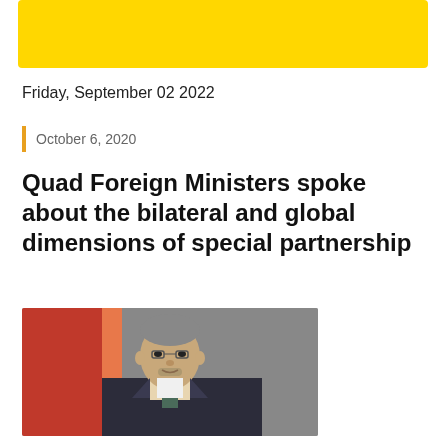[Figure (other): Yellow banner/header bar at top of page]
Friday, September 02 2022
October 6, 2020
Quad Foreign Ministers spoke about the bilateral and global dimensions of special partnership
[Figure (photo): Photo of a man in a suit speaking at a podium, with an orange/red flag backdrop visible behind him]